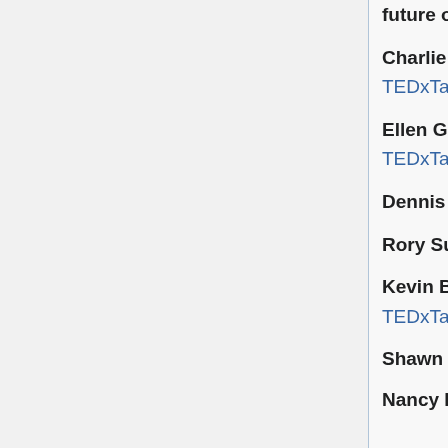future of the mobile phone TEDTalk TEDxTalk
Charlie Todd: The shared experience of absurdity TEDTalk TEDxTalk
Ellen Gustafson: Obesity + Hunger = 1 global food issue TEDTalk TEDxTalk
Dennis Hong: My seven species of robot TEDTalk TEDxTalk
Rory Sutherland: Perspective is everything TEDTalk TEDxTalk
Kevin Breel: Confessions of a depressed comic TEDTalk TEDxTalk
Shawn Achor: The happy secret to better work TEDTalk TEDxTalk
Nancy Frates: Meet the mom who started the Ice Bucket Challenge